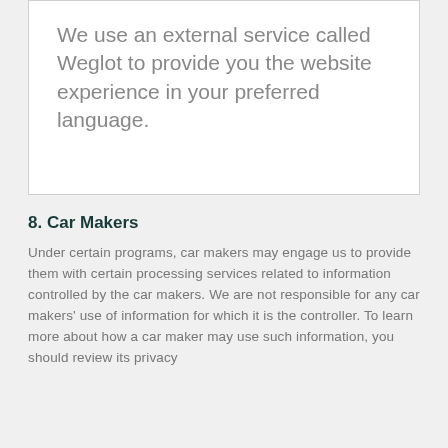We use an external service called Weglot to provide you the website experience in your preferred language.
8. Car Makers
Under certain programs, car makers may engage us to provide them with certain processing services related to information controlled by the car makers. We are not responsible for any car makers' use of information for which it is the controller. To learn more about how a car maker may use such information, you should review its privacy